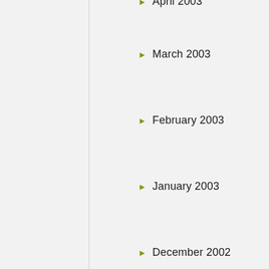April 2003
March 2003
February 2003
January 2003
December 2002
November 2002
October 2002
September 2002
August 2002
July 2002